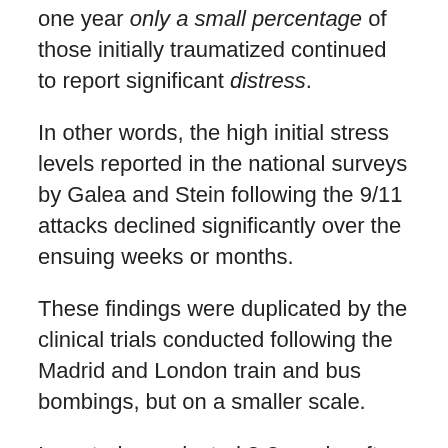one year only a small percentage of those initially traumatized continued to report significant distress.
In other words, the high initial stress levels reported in the national surveys by Galea and Stein following the 9/11 attacks declined significantly over the ensuing weeks or months.
These findings were duplicated by the clinical trials conducted following the Madrid and London train and bus bombings, but on a smaller scale.
In a study conducted 2-3 weeks after the Madrid bombings, 47 percent of subjects showed “significant symptoms of acute stress” (Vasquez, C., P. Perez-Sales, and G. Matt. “PTSD Following the March 11, 2004 Terrorist Attacks in a Madrid Community Sample” The Spanish Journal of Psychology, 2006).